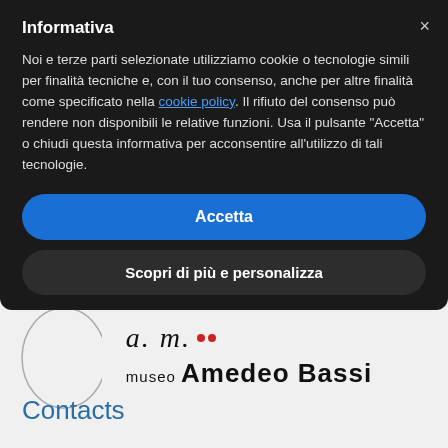Informativa
Noi e terze parti selezionate utilizziamo cookie o tecnologie simili per finalità tecniche e, con il tuo consenso, anche per altre finalità come specificato nella cookie policy. Il rifiuto del consenso può rendere non disponibili le relative funzioni. Usa il pulsante “Accetta” o chiudi questa informativa per acconsentire all’utilizzo di tali tecnologie.
Accetta
Scopri di più e personalizza
[Figure (logo): museo Amedeo Bassi logo with stylized initials and circular outline]
Contacts